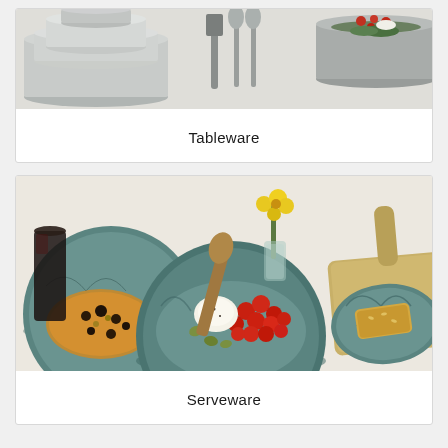[Figure (photo): Photo of tableware: plates, bowls, and utensils (spatula and spoons) on a table with dishes containing food]
Tableware
[Figure (photo): Photo of serveware: teal/blue ceramic plates and bowls with botanical designs, containing cherry tomatoes, mozzarella, olives, flatbread and other foods, with a wooden spoon, a yellow flower in a glass vase, and a wooden serving board]
Serveware